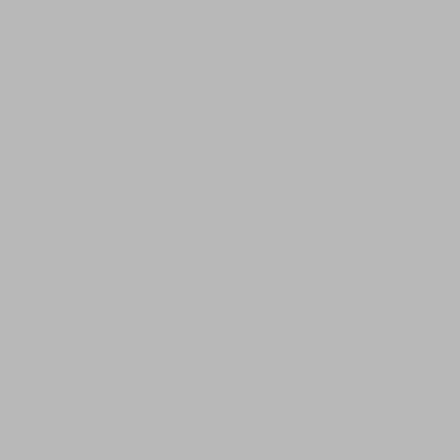this is
particu
9th Cir
of the 
1348,13
     In
to frus
Honorab
telling
underst
   MR
   TH
   MR
from wh
broache